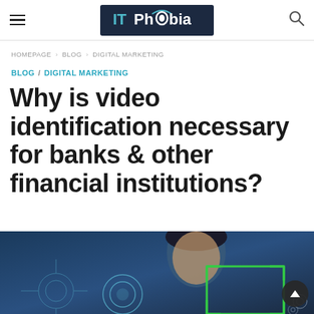IT Phobia — Navigation header with hamburger menu, logo, and search icon
HOMEPAGE › BLOG › DIGITAL MARKETING
BLOG / DIGITAL MARKETING
Why is video identification necessary for banks & other financial institutions?
[Figure (photo): Hero image showing a person with facial recognition overlays and technology interface elements, with a green scanning rectangle]